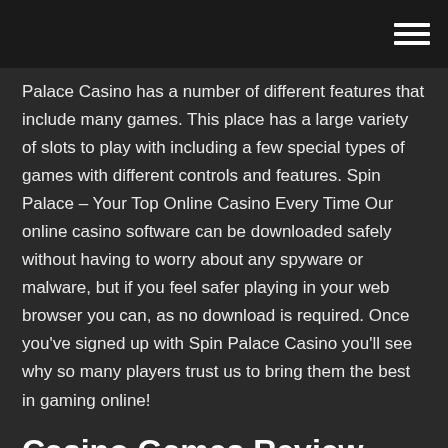Palace Casino has a number of different features that include many games. This place has a large variety of slots to play with including a few special types of games with different controls and features. Spin Palace – Your Top Online Casino Every Time Our online casino software can be downloaded safely without having to worry about any spyware or malware, but if you feel safer playing in your web browser you can, as no download is required. Once you've signed up with Spin Palace Casino you'll see why so many players trust us to bring them the best in gaming online!
Casino Games Review. While the name implies that this online